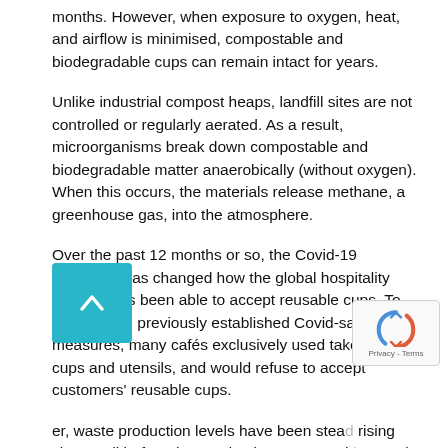months. However, when exposure to oxygen, heat, and airflow is minimised, compostable and biodegradable cups can remain intact for years.
Unlike industrial compost heaps, landfill sites are not controlled or regularly aerated. As a result, microorganisms break down compostable and biodegradable matter anaerobically (without oxygen). When this occurs, the materials release methane, a greenhouse gas, into the atmosphere.
Over the past 12 months or so, the Covid-19 pandemic has changed how the global hospitality industry has been able to accept reusable cups. To comply with previously established Covid-safe measures, many cafés exclusively used takeaway cups and utensils, and would refuse to accept customers' reusable cups.
er, waste production levels have been steadily rising since well before the pandemic. In 1992, Ch started to import and process recyclable waste from